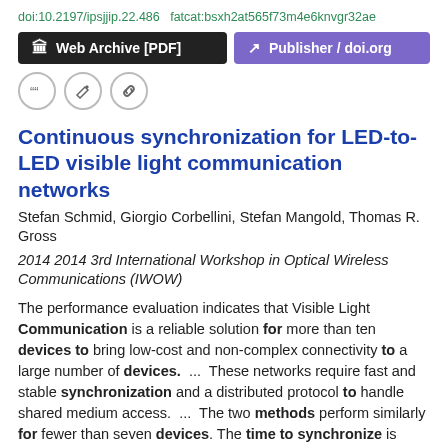doi:10.2197/ipsjjip.22.486  fatcat:bsxh2at565f73m4e6knvgr32ae
[Figure (screenshot): Two buttons: 'Web Archive [PDF]' in black and 'Publisher / doi.org' in purple]
[Figure (screenshot): Three circular icon buttons: quote, edit, and link]
Continuous synchronization for LED-to-LED visible light communication networks
Stefan Schmid, Giorgio Corbellini, Stefan Mangold, Thomas R. Gross
2014 2014 3rd International Workshop in Optical Wireless Communications (IWOW)
The performance evaluation indicates that Visible Light Communication is a reliable solution for more than ten devices to bring low-cost and non-complex connectivity to a large number of devices.  ...  These networks require fast and stable synchronization and a distributed protocol to handle shared medium access.  ...  The two methods perform similarly for fewer than seven devices. The time to synchronize is always below one second.  ...
doi:10.1109/iwow.2014.6950774
fatcat:cf66z5nxhzbpjpmu2cx6lxgtwm